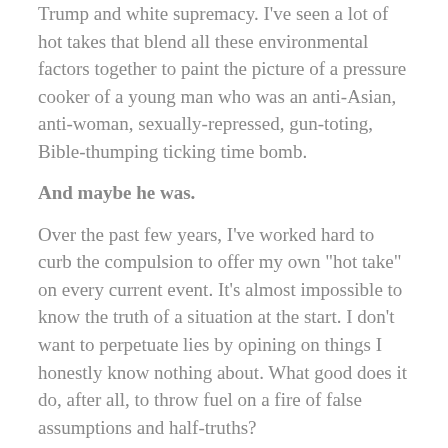Trump and white supremacy. I've seen a lot of hot takes that blend all these environmental factors together to paint the picture of a pressure cooker of a young man who was an anti-Asian, anti-woman, sexually-repressed, gun-toting, Bible-thumping ticking time bomb.
And maybe he was.
Over the past few years, I've worked hard to curb the compulsion to offer my own "hot take" on every current event. It's almost impossible to know the truth of a situation at the start. I don't want to perpetuate lies by opining on things I honestly know nothing about. What good does it do, after all, to throw fuel on a fire of false assumptions and half-truths?